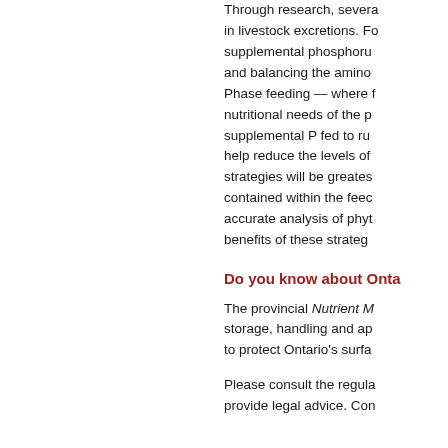Through research, several strategies have been developed to reduce nutrients in livestock excretions. For swine and poultry, reducing supplemental phosphorus (P) by using the enzyme phytase and balancing the amino acid content of the diet are key. Phase feeding — where feed is changed to match the nutritional needs of the pigs at each stage of growth — and supplemental P fed to ruminants can be reduced. These can help reduce the levels of P in manure. The benefits of these strategies will be greatest when the phytate content of the P contained within the feed ingredients is known. This requires accurate analysis of phytate P in feed ingredients. The benefits of these strategies will be greatest when the
Do you know about Onta
The provincial Nutrient M storage, handling and ap to protect Ontario's surfa
Please consult the regula provide legal advice. Con